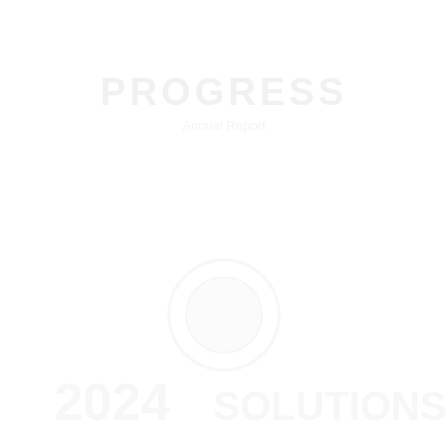[Figure (other): Blank white page with very faint watermark-like text and graphic elements that are nearly invisible against the white background.]